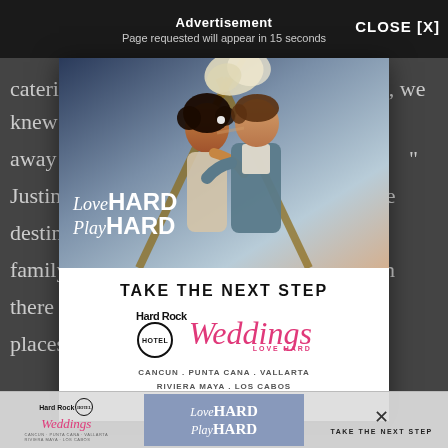Advertisement
Page requested will appear in 15 seconds
catering events for a living in the Bay Area, we knew right away th… “…e,” Justine … to the destina… My family … acation there al… places,
[Figure (infographic): Hard Rock Hotel Weddings advertisement. Top half shows a couple embracing with text 'Love HARD Play HARD' overlaid on a romantic beach/outdoor background. Bottom half white with bold text 'TAKE THE NEXT STEP', Hard Rock Hotel Weddings logo in black and pink, and location text: CANCUN . PUNTA CANA . VALLARTA / RIVIERA MAYA . LOS CABOS / AN ALL-INCLUSIVE EXPERIENCE]
Beginning… introduced 76 loved ones to their beachy wedding weekend color palette as well as the comfortable, yet sophistic… e was extremel… wd